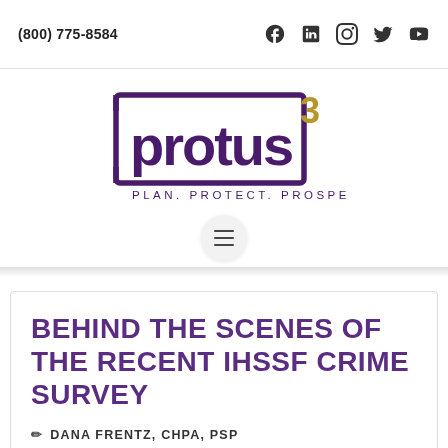(800) 775-8584
[Figure (logo): Protus3 logo with tagline PLAN. PROTECT. PROSPER.]
BEHIND THE SCENES OF THE RECENT IHSSF CRIME SURVEY
DANA FRENTZ, CHPA, PSP